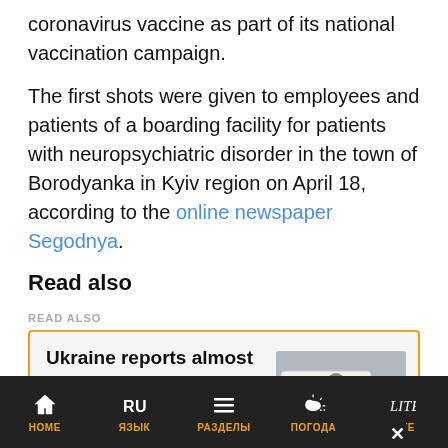coronavirus vaccine as part of its national vaccination campaign.
The first shots were given to employees and patients of a boarding facility for patients with neuropsychiatric disorder in the town of Borodyanka in Kyiv region on April 18, according to the online newspaper Segodnya.
Read also
READ ALSO
Ukraine reports almost 4,300 hospitalizations of COVID-19 patients in past day
HOME | ЯЗЫК | РАЗДЕЛЫ | ПОГОДА | LITE